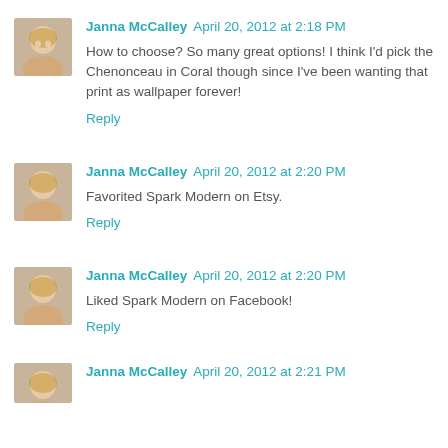Janna McCalley April 20, 2012 at 2:18 PM
How to choose? So many great options! I think I'd pick the Chenonceau in Coral though since I've been wanting that print as wallpaper forever!
Reply
Janna McCalley April 20, 2012 at 2:20 PM
Favorited Spark Modern on Etsy.
Reply
Janna McCalley April 20, 2012 at 2:20 PM
Liked Spark Modern on Facebook!
Reply
Janna McCalley April 20, 2012 at 2:21 PM